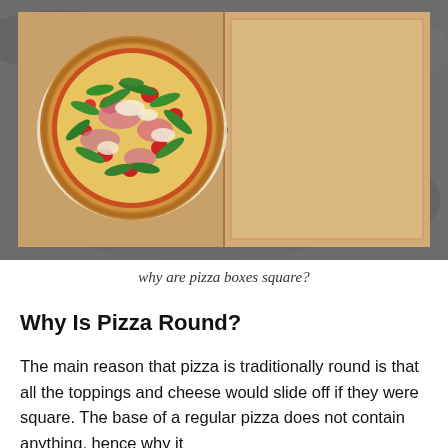[Figure (photo): An open square cardboard pizza box viewed from above on a gray concrete surface. A round pizza with green arugula, red tomatoes, pink prosciutto, and white cheese toppings sits on the left side of the open box. The right side of the box lid is open and empty, revealing the plain cardboard interior.]
why are pizza boxes square?
Why Is Pizza Round?
The main reason that pizza is traditionally round is that all the toppings and cheese would slide off if they were square. The base of a regular pizza does not contain anything, hence why it